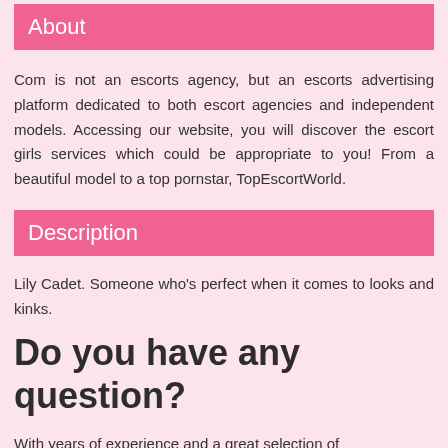About
Com is not an escorts agency, but an escorts advertising platform dedicated to both escort agencies and independent models. Accessing our website, you will discover the escort girls services which could be appropriate to you! From a beautiful model to a top pornstar, TopEscortWorld.
Description
Lily Cadet. Someone who's perfect when it comes to looks and kinks.
Do you have any question?
With years of experience and a great selection of